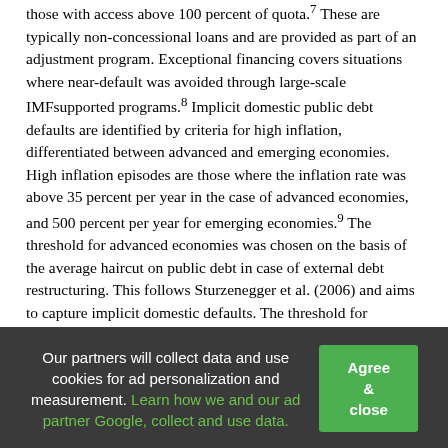those with access above 100 percent of quota.7 These are typically non-concessional loans and are provided as part of an adjustment program. Exceptional financing covers situations where near-default was avoided through large-scale IMFsupported programs.8 Implicit domestic public debt defaults are identified by criteria for high inflation, differentiated between advanced and emerging economies. High inflation episodes are those where the inflation rate was above 35 percent per year in the case of advanced economies, and 500 percent per year for emerging economies.9 The threshold for advanced economies was chosen on the basis of the average haircut on public debt in case of external debt restructuring. This follows Sturzenegger et al. (2006) and aims to capture implicit domestic defaults. The threshold for emerging economies is based on results by Reinhart and Rogoff (2010).10 Severe government bond yield pressures are also considered. This captures situations in which the government faces significant short-term market financing constraints.11 Periods when yield spreads exceeded two standard deviations above the
Our partners will collect data and use cookies for ad personalization and measurement. Learn how we and our ad partner Google, collect and use data.
Agree & close